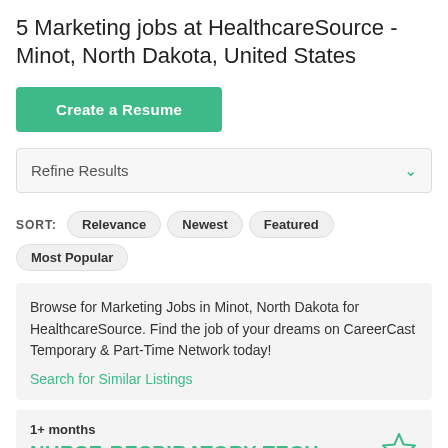5 Marketing jobs at HealthcareSource - Minot, North Dakota, United States
Create a Resume
Refine Results
SORT: Relevance Newest Featured Most Popular
Browse for Marketing Jobs in Minot, North Dakota for HealthcareSource. Find the job of your dreams on CareerCast Temporary & Part-Time Network today!
Search for Similar Listings
1+ months
NURSE-RESPIRATORY TECH
HealthcareSource